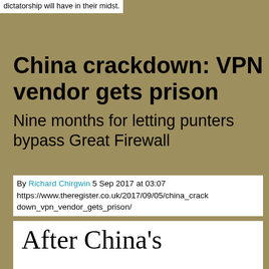dictatorship will have in their midst.
China crackdown: VPN vendor gets prison
Nine months for letting punters bypass Great Firewall
By Richard Chirgwin 5 Sep 2017 at 03:07 https://www.theregister.co.uk/2017/09/05/china_crackdown_vpn_vendor_gets_prison/
After China's crackdown, now